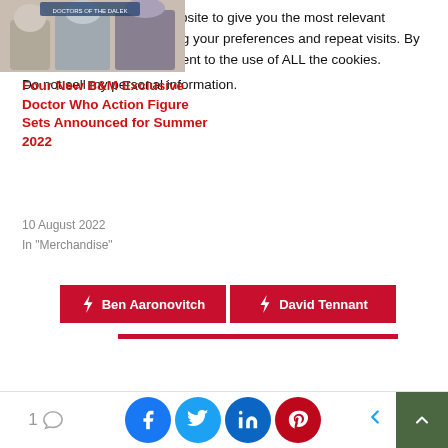[Figure (photo): Doctor Who action figures product image, partially visible at top left]
Four New B&M Exclusive Doctor Who Action Figure Sets Announced for Summer 2022
10 August 2022
In "Merchandise"
Ben Aaronovitch
David Tennant
We use cookies on our website to give you the most relevant experience by remembering your preferences and repeat visits. By clicking “Accept”, you consent to the use of ALL the cookies.
Do not sell my personal information.